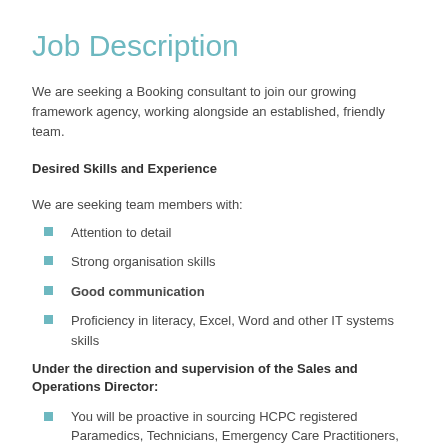Job Description
We are seeking a Booking consultant to join our growing framework agency, working alongside an established, friendly team.
Desired Skills and Experience
We are seeking team members with:
Attention to detail
Strong organisation skills
Good communication
Proficiency in literacy, Excel, Word and other IT systems skills
Under the direction and supervision of the Sales and Operations Director:
You will be proactive in sourcing HCPC registered Paramedics, Technicians, Emergency Care Practitioners, Urgent Care Practitioners and